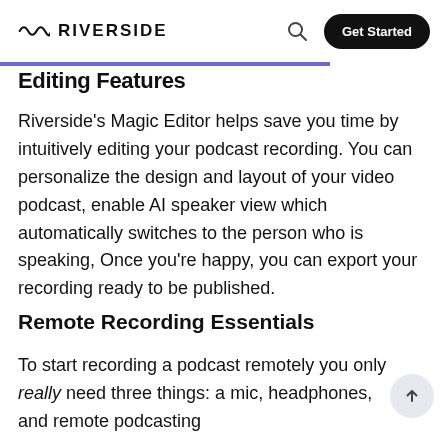RIVERSIDE | Get Started
Editing Features
Riverside’s Magic Editor helps save you time by intuitively editing your podcast recording. You can personalize the design and layout of your video podcast, enable AI speaker view which automatically switches to the person who is speaking, Once you’re happy, you can export your recording ready to be published.
Remote Recording Essentials
To start recording a podcast remotely you only really need three things: a mic, headphones, and remote podcasting